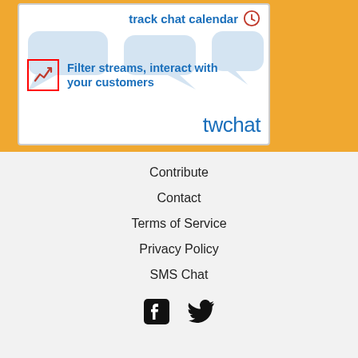[Figure (screenshot): twchat advertisement card showing 'track chat calendar' with a clock icon, chat bubbles in background, a red-bordered chart icon with text 'Filter streams, interact with your customers', and the 'twchat' brand name in blue. Set on an orange/amber background.]
Contribute
Contact
Terms of Service
Privacy Policy
SMS Chat
[Figure (logo): Facebook and Twitter social media icons in black]